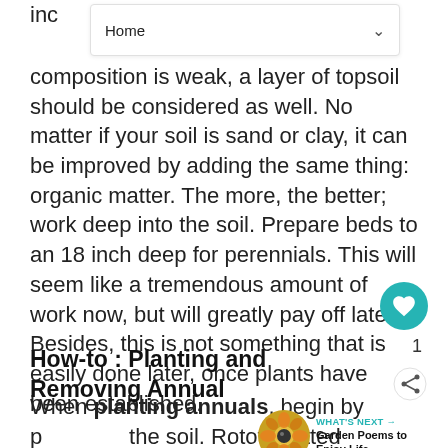Home
inc composition is weak, a layer of topsoil should be considered as well. No matter if your soil is sand or clay, it can be improved by adding the same thing: organic matter. The more, the better; work deep into the soil. Prepare beds to an 18 inch deep for perennials. This will seem like a tremendous amount of work now, but will greatly pay off later. Besides, this is not something that is easily done later, once plants have been established.
How-to : Planting and Removing Annual
When planting annuals, begin by preparing the soil. Rototill rotted compost, soil